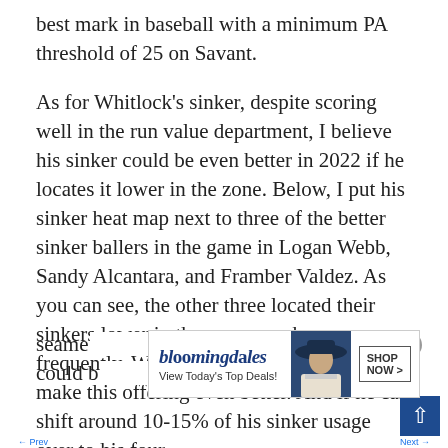best mark in baseball with a minimum PA threshold of 25 on Savant.
As for Whitlock’s sinker, despite scoring well in the run value department, I believe his sinker could be even better in 2022 if he locates it lower in the zone. Below, I put his sinker heat map next to three of the better sinker ballers in the game in Logan Webb, Sandy Alcantara, and Framber Valdez. As you can see, the other three located their sinkers lower in the zone, much more frequently. Whitlock doing the same could make this offering even better. And if he can shift around 10-15% of his sinker usage over to his four-seame… …is could b…
[Figure (other): Bloomingdale's advertisement banner with logo, woman in hat image, 'View Today’s Top Deals!' text, and 'SHOP NOW >' button]